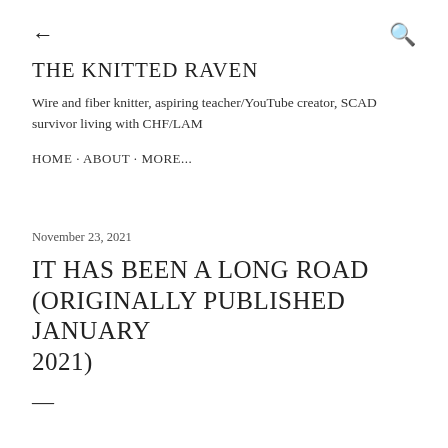← (back arrow)   🔍 (search icon)
THE KNITTED RAVEN
Wire and fiber knitter, aspiring teacher/YouTube creator, SCAD survivor living with CHF/LAM
HOME · ABOUT · MORE...
November 23, 2021
IT HAS BEEN A LONG ROAD (ORIGINALLY PUBLISHED JANUARY 2021)
—